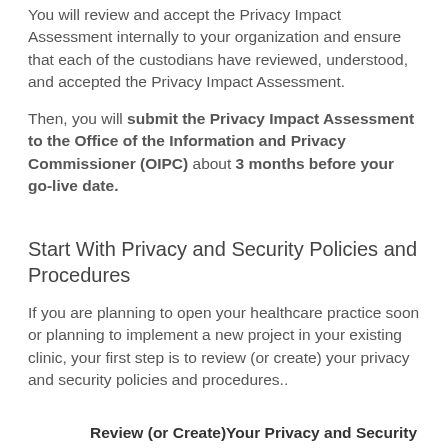You will review and accept the Privacy Impact Assessment internally to your organization and ensure that each of the custodians have reviewed, understood, and accepted the Privacy Impact Assessment.
Then, you will submit the Privacy Impact Assessment to the Office of the Information and Privacy Commissioner (OIPC) about 3 months before your go-live date.
Start With Privacy and Security Policies and Procedures
If you are planning to open your healthcare practice soon or planning to implement a new project in your existing clinic, your first step is to review (or create) your privacy and security policies and procedures..
Review (or Create)Your Privacy and Security Policies and Procedures